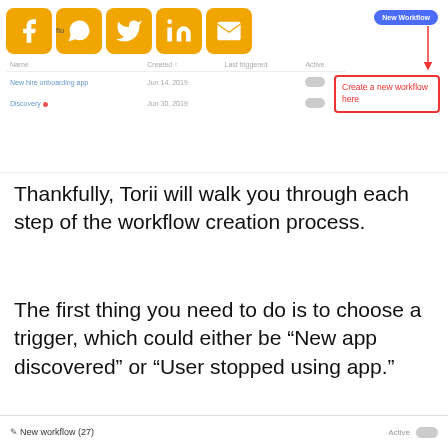[Figure (screenshot): Screenshot of a workflow management interface showing social media icons (Facebook, WhatsApp, Twitter, LinkedIn, Email), a table listing workflows with columns Name, Created, Last triggered, Active, and a 'New Workflow' button with a red callout box pointing to it saying 'Create a new workflow here']
Thankfully, Torii will walk you through each step of the workflow creation process.
The first thing you need to do is to choose a trigger, which could either be “New app discovered” or “User stopped using app.”
✏ New workflow (27)   Active